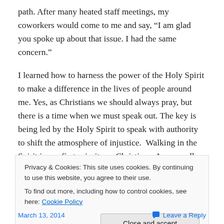path.  After many heated staff meetings, my coworkers would come to me and say, “I am glad you spoke up about that issue. I had the same concern.”
I learned how to harness the power of the Holy Spirit to make a difference in the lives of people around me. Yes, as Christians we should always pray, but there is a time when we must speak out. The key is being led by the Holy Spirit to speak with authority to shift the atmosphere of injustice.  Walking in the Spirit is our first priority as Christians. As we walk and are led by Christ others will
Privacy & Cookies: This site uses cookies. By continuing to use this website, you agree to their use.
To find out more, including how to control cookies, see here: Cookie Policy
Close and accept
March 13, 2014   Leave a Reply